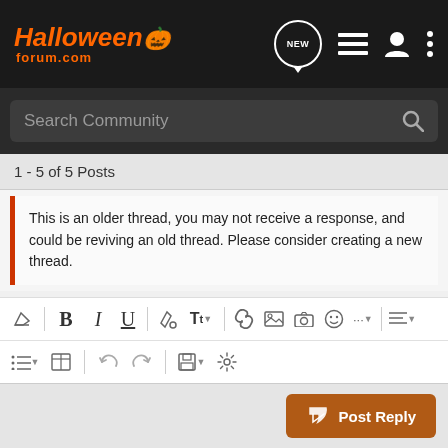HalloweenForum.com
Search Community
1 - 5 of 5 Posts
This is an older thread, you may not receive a response, and could be reviving an old thread. Please consider creating a new thread.
[Figure (screenshot): Forum rich text editor toolbar with formatting buttons: eraser, B, I, U, paint bucket, Tt with dropdown, link, image, camera, emoji, more, align; second row: list, table, undo, redo, save, settings]
Write your reply...
Post Reply